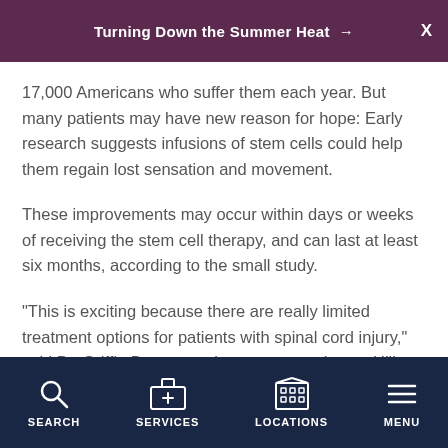Turning Down the Summer Heat →
17,000 Americans who suffer them each year. But many patients may have new reason for hope: Early research suggests infusions of stem cells could help them regain lost sensation and movement.
These improvements may occur within days or weeks of receiving the stem cell therapy, and can last at least six months, according to the small study.
"This is exciting because there are really limited treatment options for patients with spinal cord injury," said Dr. Griffin Baum, a spine surgeon at Lenox Hill Hospital in New York City, who was not involved in the
SEARCH   SERVICES   LOCATIONS   MENU